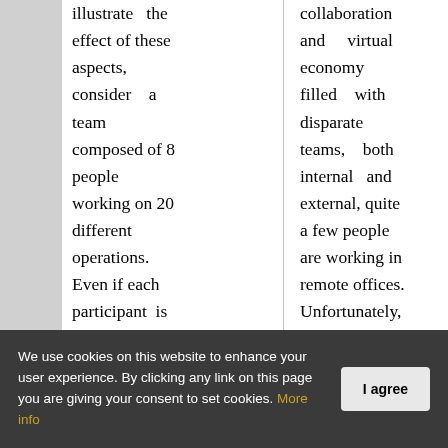illustrate the effect of these aspects, consider a team composed of 8 people working on 20 different operations. Even if each participant is 90 percent efficient at what he or she does, the
collaboration and virtual economy filled with disparate teams, both internal and external, quite a few people are working in remote offices. Unfortunately, some of them choose to ignore or reject the work assigned
We use cookies on this website to enhance your user experience. By clicking any link on this page you are giving your consent to set cookies. More info